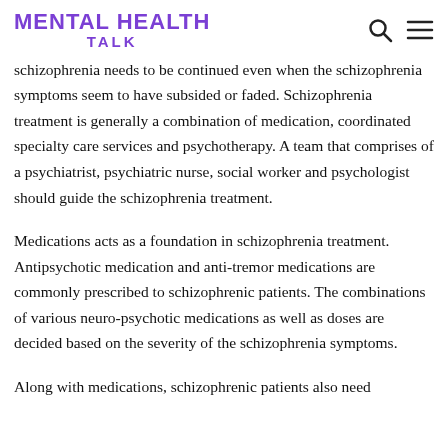MENTAL HEALTH TALK
schizophrenia needs to be continued even when the schizophrenia symptoms seem to have subsided or faded. Schizophrenia treatment is generally a combination of medication, coordinated specialty care services and psychotherapy. A team that comprises of a psychiatrist, psychiatric nurse, social worker and psychologist should guide the schizophrenia treatment.
Medications acts as a foundation in schizophrenia treatment. Antipsychotic medication and anti-tremor medications are commonly prescribed to schizophrenic patients. The combinations of various neuro-psychotic medications as well as doses are decided based on the severity of the schizophrenia symptoms.
Along with medications, schizophrenic patients also need